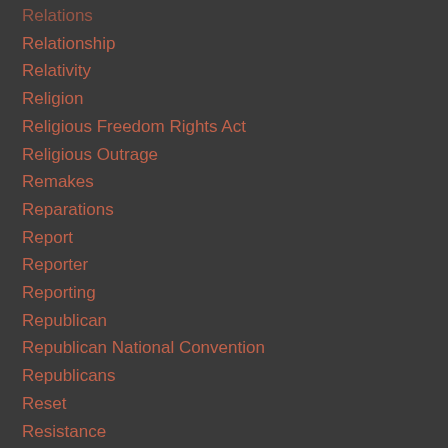Relations
Relationship
Relativity
Religion
Religious Freedom Rights Act
Religious Outrage
Remakes
Reparations
Report
Reporter
Reporting
Republican
Republican National Convention
Republicans
Reset
Resistance
Resistance Pro
Resistance Pro Wrestling
Restaurant
Retard
Retirement